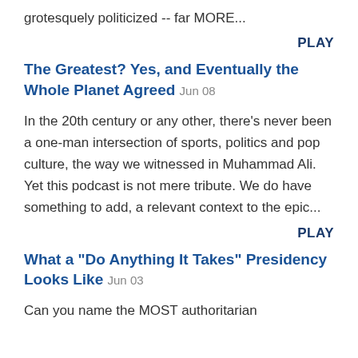grotesquely politicized -- far MORE...
PLAY
The Greatest? Yes, and Eventually the Whole Planet Agreed Jun 08
In the 20th century or any other, there's never been a one-man intersection of sports, politics and pop culture, the way we witnessed in Muhammad Ali. Yet this podcast is not mere tribute. We do have something to add, a relevant context to the epic...
PLAY
What a "Do Anything It Takes" Presidency Looks Like Jun 03
Can you name the MOST authoritarian